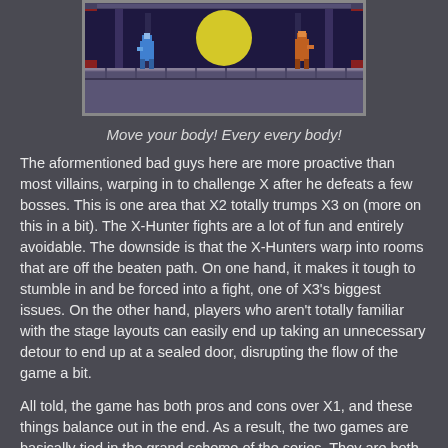[Figure (screenshot): Pixel art video game screenshot showing two robot/armored characters facing each other in a sci-fi stage, with a large moon or circle in the background and a platform floor.]
Move your body! Every every body!
The aformentioned bad guys here are more proactive than most villains, warping in to challenge X after he defeats a few bosses. This is one area that X2 totally trumps X3 on (more on this in a bit). The X-Hunter fights are a lot of fun and entirely avoidable. The downside is that the X-Hunters warp into rooms that are off the beaten path. On one hand, it makes it tough to stumble in and be forced into a fight, one of X3's biggest issues. On the other hand, players who aren't totally familiar with the stage layouts can easily end up taking an unnecessary detour to end up at a sealed door, disrupting the flow of the game a bit.
All told, the game has both pros and cons over X1, and these things balance out in the end. As a result, the two games are basically tied in the grand scheme of the series. They are both great, great games: hands-down the two best